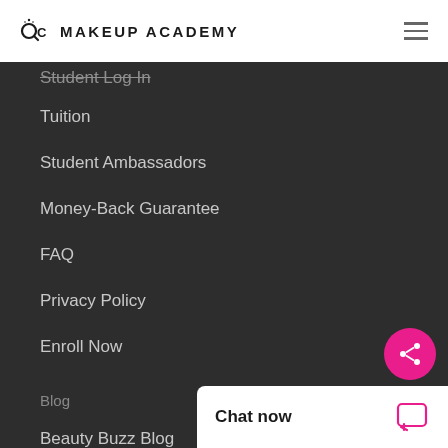QC MAKEUP ACADEMY
Student Log In
Tuition
Student Ambassadors
Money-Back Guarantee
FAQ
Privacy Policy
Enroll Now
Blog
Beauty Buzz Blog
Student & Gradu...
From the Expert...